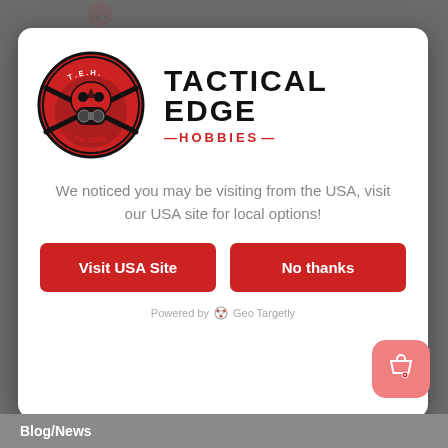[Figure (logo): Tactical Edge Hobbies logo with skull wearing gas mask, crossed rifles, red circular badge with T.E.H. text and 'GET THE EDGE' tagline, alongside bold text TACTICAL EDGE with red HOBBIES subtitle]
We noticed you may be visiting from the USA, visit our USA site for local options!
Visit USA Site
No thanks
Powered by Geo Targetly
Blog/News